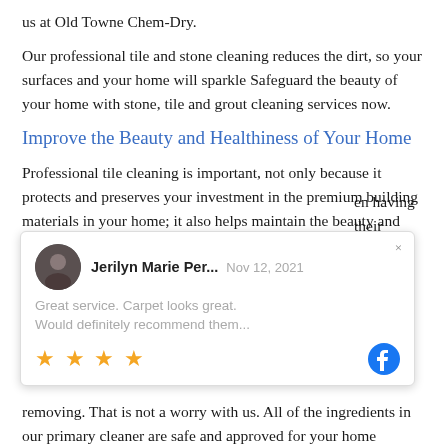us at Old Towne Chem-Dry.
Our professional tile and stone cleaning reduces the dirt, so your surfaces and your home will sparkle Safeguard the beauty of your home with stone, tile and grout cleaning services now.
Improve the Beauty and Healthiness of Your Home
Professional tile cleaning is important, not only because it protects and preserves your investment in the premium building materials in your home; it also helps maintain the beauty and healthiness of your home.
[Figure (screenshot): Review popup card showing Jerilyn Marie Per... with date Nov 12, 2021, review text 'Great service. Carpet looks great. Would definitely recommend them...', 4 gold stars, Facebook icon, and close button (x)]
removing. That is not a worry with us. All of the ingredients in our primary cleaner are safe and approved for your home